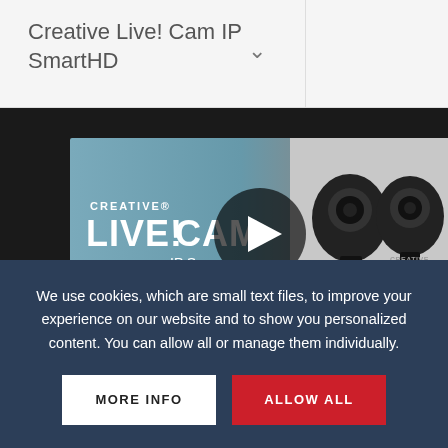Creative Live! Cam IP SmartHD
[Figure (screenshot): Video thumbnail showing Creative Live! Cam IP SmartHD product video with play button overlay. Shows two black Creative webcams with text 'CREATIVE LIVE!CAM IP S... Wi-Fi Monitoring Camera']
We use cookies, which are small text files, to improve your experience on our website and to show you personalized content. You can allow all or manage them individually.
MORE INFO
ALLOW ALL